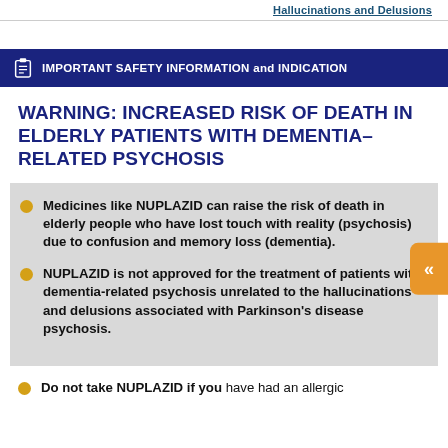Hallucinations and Delusions
IMPORTANT SAFETY INFORMATION and INDICATION
WARNING: INCREASED RISK OF DEATH IN ELDERLY PATIENTS WITH DEMENTIA–RELATED PSYCHOSIS
Medicines like NUPLAZID can raise the risk of death in elderly people who have lost touch with reality (psychosis) due to confusion and memory loss (dementia).
NUPLAZID is not approved for the treatment of patients with dementia-related psychosis unrelated to the hallucinations and delusions associated with Parkinson's disease psychosis.
Do not take NUPLAZID if you have had an allergic